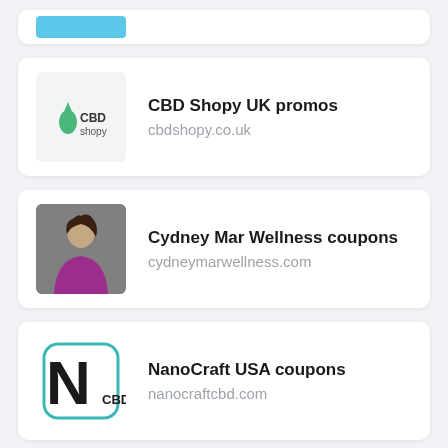[Figure (other): Partial card at top showing a blue rectangular bar/logo placeholder]
CBD Shopy UK promos
cbdshopy.co.uk
Cydney Mar Wellness coupons
cydneymarwellness.com
NanoCraft USA coupons
nanocraftcbd.com
Era Organics USA coupons
eraorganics.com